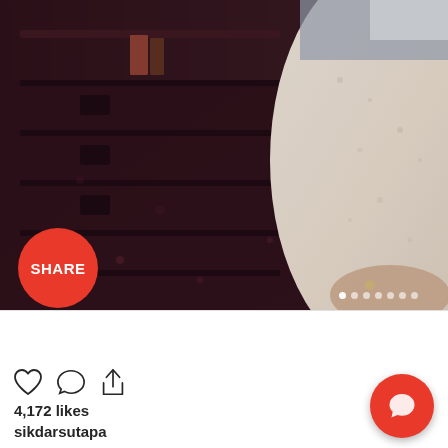[Figure (photo): A vintage/retro photograph showing dark wooden drawers/furniture on the left and a person wearing a white lacy or floral patterned top/dress on the right, partially cropped. The image has a muted, aged color tone.]
SHARE
View more on Instagram
[Figure (other): Social media action icons: heart (like), speech bubble (comment), and share/upload icon]
4,172 likes
sikdarsutapa
[Figure (other): Orange circular floating action button with a chat/comment icon]